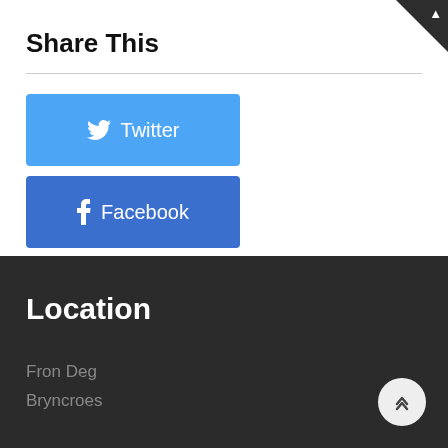Share This
[Figure (infographic): Social share buttons: Twitter (light blue), Facebook (blue), LinkedIn (dark blue), Email (grey)]
Location
Fron Deg
Bryncroes